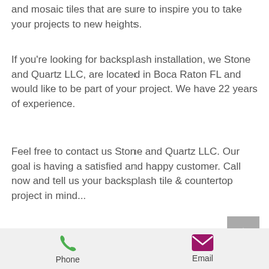and mosaic tiles that are sure to inspire you to take your projects to new heights.
If you're looking for backsplash installation, we Stone and Quartz LLC, are located in Boca Raton FL and would like to be part of your project. We have 22 years of experience.
Feel free to contact us Stone and Quartz LLC. Our goal is having a satisfied and happy customer. Call now and tell us your backsplash tile & countertop project in mind...
Come & visit us!
[Figure (other): Back to top arrow button (grey square with upward chevron)]
[Figure (other): Footer bar with Phone icon (green phone) and Email icon (magenta envelope)]